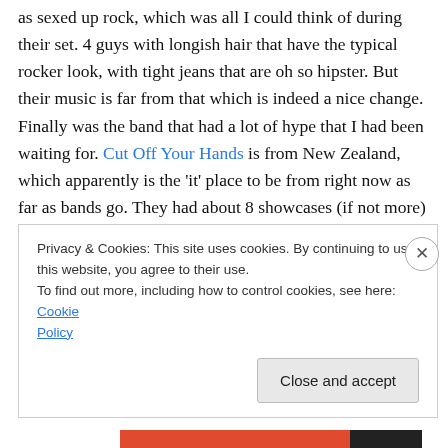as sexed up rock, which was all I could think of during their set. 4 guys with longish hair that have the typical rocker look, with tight jeans that are oh so hipster. But their music is far from that which is indeed a nice change. Finally was the band that had a lot of hype that I had been waiting for. Cut Off Your Hands is from New Zealand, which apparently is the 'it' place to be from right now as far as bands go. They had about 8 showcases (if not more) that they were playing. Nick Johnson, lead singer of the band, has for one the best haircut in the bands playing these days. But regardless of his indie hipster look with
Privacy & Cookies: This site uses cookies. By continuing to use this website, you agree to their use. To find out more, including how to control cookies, see here: Cookie Policy
Close and accept